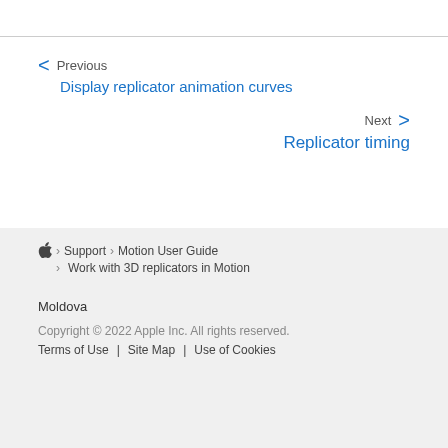Previous
Display replicator animation curves
Next
Replicator timing
Support > Motion User Guide > Work with 3D replicators in Motion
Moldova
Copyright © 2022 Apple Inc. All rights reserved.
Terms of Use | Site Map | Use of Cookies